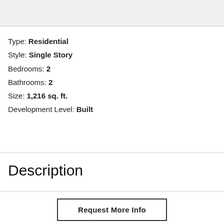Type: Residential
Style: Single Story
Bedrooms: 2
Bathrooms: 2
Size: 1,216 sq. ft.
Development Level: Built
Description
Request More Info